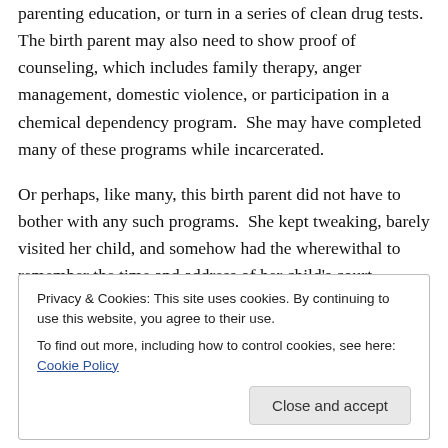parenting education, or turn in a series of clean drug tests.  The birth parent may also need to show proof of counseling, which includes family therapy, anger management, domestic violence, or participation in a chemical dependency program.  She may have completed many of these programs while incarcerated.
Or perhaps, like many, this birth parent did not have to bother with any such programs.  She kept tweaking, barely visited her child, and somehow had the wherewithal to remember the time and address of her child's court appointment.  In which case, maybe she gets her child
Privacy & Cookies: This site uses cookies. By continuing to use this website, you agree to their use.
To find out more, including how to control cookies, see here: Cookie Policy